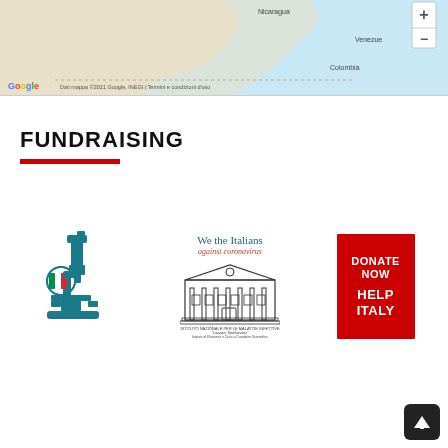[Figure (map): Google Maps screenshot showing Central America/South America region with Nicaragua, Venezuela, Colombia labels. Zoom controls visible. Footer shows 'Dati mappa ©2021 Google, INEGI | Termini e condizioni d'uso']
FUNDRAISING
[Figure (logo): Composite fundraising image: microscope logo with Italian flag colors on the left, 'We the Italians against coronavirus' with Istituto Nazionale per le Malattie Infettive 'Lazzaro Spallanzani' building illustration in the center, and red 'DONATE NOW HELP ITALY' button on the right]